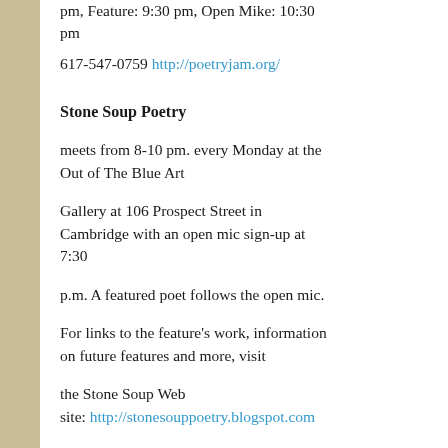pm, Feature: 9:30 pm, Open Mike: 10:30 pm
617-547-0759 http://poetryjam.org/
Stone Soup Poetry
meets from 8-10 pm. every Monday at the Out of The Blue Art
Gallery at 106 Prospect Street in Cambridge with an open mic sign-up at 7:30
p.m. A featured poet follows the open mic.
For links to the feature's work, information on future features and more, visit
the Stone Soup Web site: http://stonesouppoetry.blogspot.com